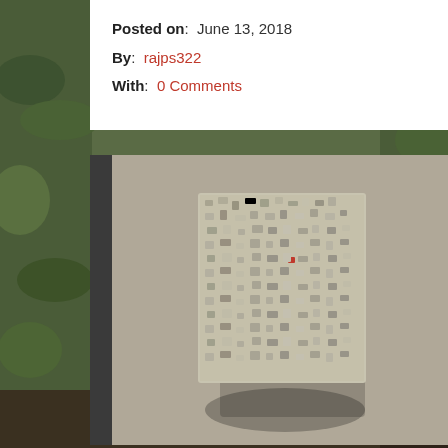[Figure (photo): Background photo of garden with green plants, foliage and stones]
Posted on: June 13, 2018
By: rajps322
With: 0 Comments
[Figure (photo): Photo of a textured stone or concrete artwork piece mounted on a gray panel, photographed outdoors]